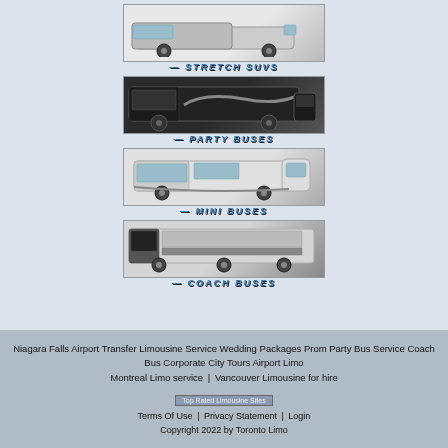[Figure (photo): Stretch SUV vehicle image with 'STRETCH SUVS' label in blue italic text]
[Figure (photo): Black party bus vehicle image with 'PARTY BUSES' label in blue italic text]
[Figure (photo): White mini bus vehicle image with 'MINI BUSES' label in blue italic text]
[Figure (photo): White coach bus vehicle image with 'COACH BUSES' label in blue italic text]
Niagara Falls Airport Transfer Limousine Service Wedding Packages Prom Party Bus Service Coach Bus Corporate City Tours Airport Limo Montreal Limo service | Vancouver Limousine for hire
[Figure (photo): Top Rated Limousine Sites badge image]
Terms Of Use | Privacy Statement | Login
Copyright 2022 by Toronto Limo